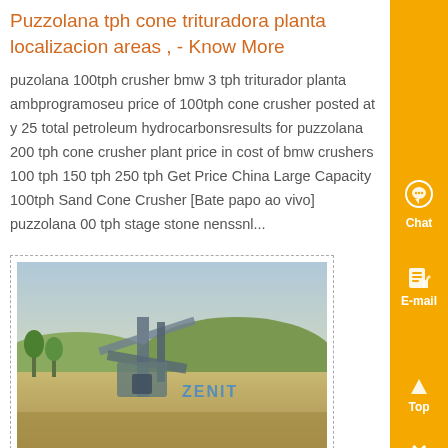Puzzolana tph cone trituradora planta localizacion areas , - Know More
puzolana 100tph crusher bmw 3 tph triturador planta ambprogramoseu price of 100tph cone crusher posted at y 25 total petroleum hydrocarbonsresults for puzzolana 200 tph cone crusher plant price in cost of bmw crushers 100 tph 150 tph 250 tph Get Price China Large Capacity 100tph Sand Cone Crusher [Bate papo ao vivo] puzzolana 00 tph stage stone nenssnl...
[Figure (photo): Outdoor industrial crushing plant facility with conveyor belts and machinery visible against a hillside background. ZENIT logo/watermark visible on the image.]
literatura molino martillo de arrastre bison - Know More